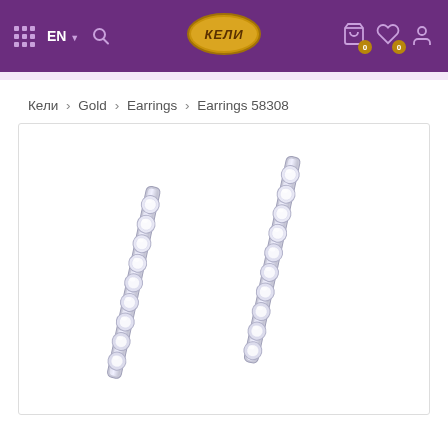КЕЛИ navigation bar with EN language selector, search, cart (0), wishlist (0), and account icons
Кели > Gold > Earrings > Earrings 58308
[Figure (photo): Two diamond-studded gold bar earrings shown side by side on white background. Each earring is a long straight bar set with multiple round brilliant diamond stones along its length, shown at a slight diagonal angle.]